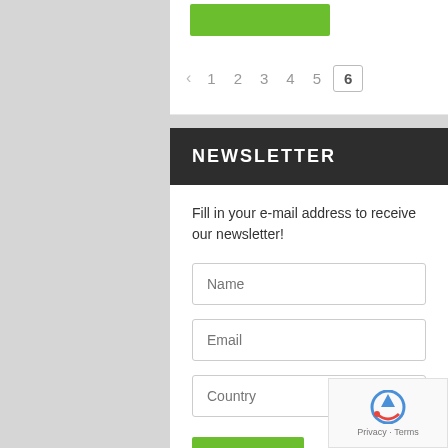[Figure (screenshot): Green button partially visible at top of white card]
< 1 2 3 4 5 6
NEWSLETTER
Fill in your e-mail address to receive our newsletter!
Name
Email
Country
SUBMIT
[Figure (logo): reCAPTCHA logo with Privacy and Terms text]